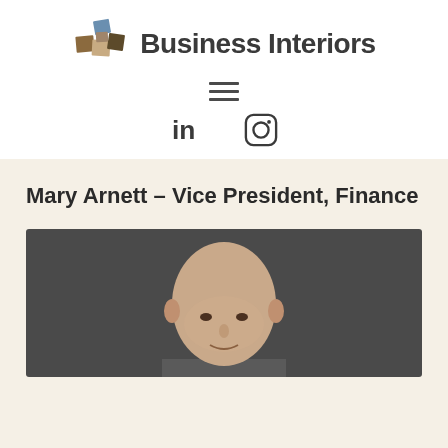[Figure (logo): Business Interiors logo with geometric cube/box icon in brown, tan, and blue colors, followed by bold text 'Business Interiors']
[Figure (other): Hamburger menu icon (three horizontal lines)]
[Figure (other): Social media icons: LinkedIn (in) and Instagram (camera circle) icons]
Mary Arnett – Vice President, Finance
[Figure (photo): Professional headshot of a bald man in a dark gray studio background, cropped from shoulders up]